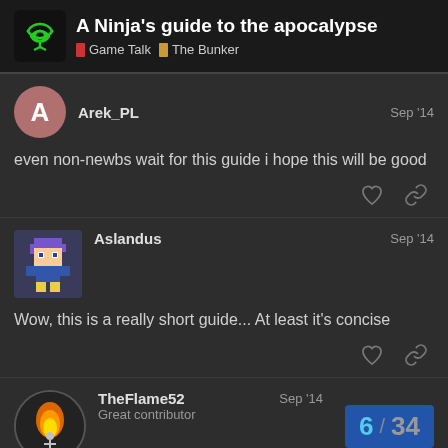A Ninja's guide to the apocalypse | Game Talk | The Bunker
Arek_PL  Sep '14
even non-newbs wait for this guide i hope this will be good
Aslandus  Sep '14
Wow, this is a really short guide... At least it's concise
TheFlame52  Sep '14
Great contributor
6 / 34